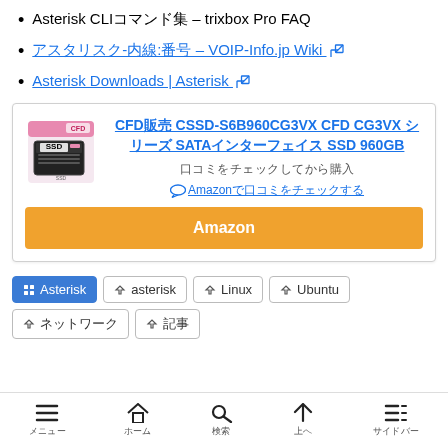Asterisk CLIコマンド集 – trixbox Pro FAQ
アスタリスク-内線:番号 – VOIP-Info.jp Wiki (external link)
Asterisk Downloads | Asterisk (external link)
[Figure (other): Advertisement card for CFD販売 CSSD-S6B960CG3VX CFD CG3VX シリーズ SATAインターフェイス SSD 960GB with product image, Amazon review link, and orange Amazon purchase button]
Asterisk (category tag, filled blue)
asterisk (tag)
Linux (tag)
Ubuntu (tag)
ネットワーク (tag)
記事 (tag)
メニュー　ホーム　検索　上へ　サイドバー